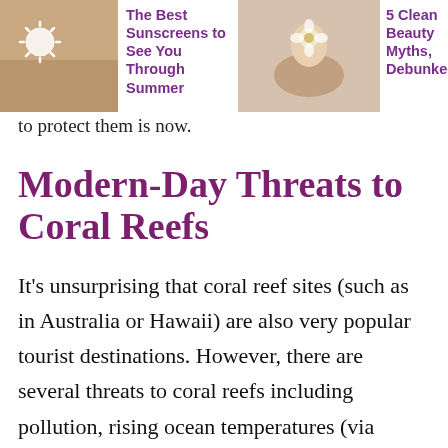[Figure (photo): Thumbnail image of a person's back with a sun-cream sun icon drawn on it, for the article 'The Best Sunscreens to See You Through Summer']
The Best Sunscreens to See You Through Summer
[Figure (photo): Thumbnail image of hands holding a flower, for the article '5 Clean Beauty Myths, Debunked']
5 Clean Beauty Myths, Debunked
to protect them is now.
Modern-Day Threats to Coral Reefs
It's unsurprising that coral reef sites (such as in Australia or Hawaii) are also very popular tourist destinations. However, there are several threats to coral reefs including pollution, rising ocean temperatures (via global warming), and the acidification of oceans. Corals derive their beautiful colors from algae that they hold on